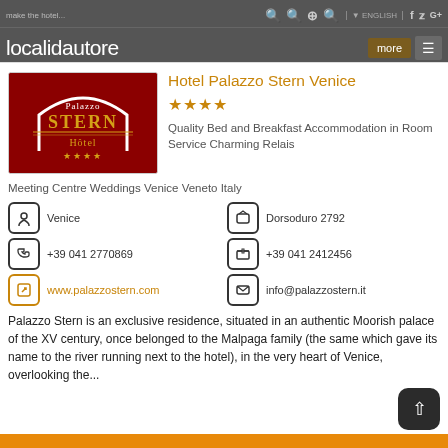localidautore — navigation bar with search icons, ENGLISH language selector, social icons (f, twitter, G+), more button, menu button
[Figure (logo): Palazzo Stern Hôtel logo — dark red background with white arch, gold STERN text, Hôtel text, four gold stars]
Hotel Palazzo Stern Venice
★★★★
Quality Bed and Breakfast Accommodation in Room Service Charming Relais Meeting Centre Weddings Venice Veneto Italy
Venice
Dorsoduro 2792
+39 041 2770869
+39 041 2412456
www.palazzostern.com
info@palazzostern.it
Palazzo Stern is an exclusive residence, situated in an authentic Moorish palace of the XV century, once belonged to the Malpaga family (the same which gave its name to the river running next to the hotel), in the very heart of Venice, overlooking the...